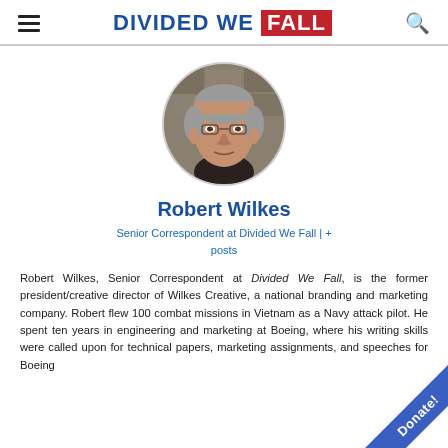DIVIDED WE FALL
[Figure (photo): Circular profile photo of Robert Wilkes, an older man with gray hair, photographed outdoors against a stone background.]
Robert Wilkes
Senior Correspondent at Divided We Fall | + posts
Robert Wilkes, Senior Correspondent at Divided We Fall, is the former president/creative director of Wilkes Creative, a national branding and marketing company. Robert flew 100 combat missions in Vietnam as a Navy attack pilot. He spent ten years in engineering and marketing at Boeing, where his writing skills were called upon for technical papers, marketing assignments, and speeches for Boeing executives. A prominent civic and community leader...